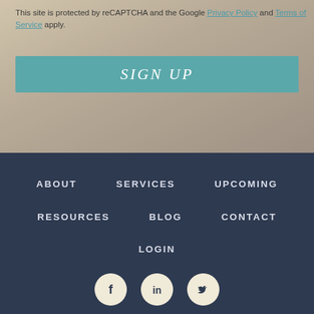This site is protected by reCAPTCHA and the Google Privacy Policy and Terms of Service apply.
SIGN UP
ABOUT
SERVICES
UPCOMING
RESOURCES
BLOG
CONTACT
LOGIN
[Figure (illustration): Social media icons: Facebook (f), LinkedIn (in), Twitter (bird) in beige circles on dark navy background]